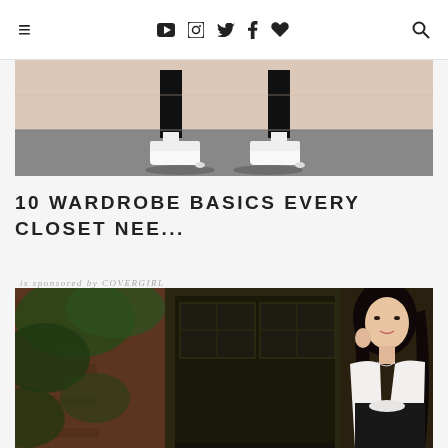≡  ▶  📷  🐦  f  ♥  🔍
[Figure (photo): Cropped photo showing person's legs and white sneakers against a wall/sidewalk background]
10 WARDROBE BASICS EVERY CLOSET NEE...
is sponsored by COVERGIRL
[Figure (photo): Young woman in white blouse and dark skirt leaning against an ornate dark doorway with brick wall and foliage in the background]